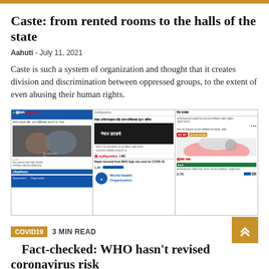Caste: from rented rooms to the halls of the state
Aahuti - July 11, 2021
Caste is such a system of organization and thought that it creates division and discrimination between oppressed groups, to the extent of even abusing their human rights.
[Figure (screenshot): Composite screenshot of multiple Nepali news websites showing COVID-19 related articles, including NepNews, myRepublica, and Post Khabar, all featuring WHO and coronavirus stories.]
COVID19  3 MIN READ
Fact-checked: WHO hasn't revised coronavirus risk